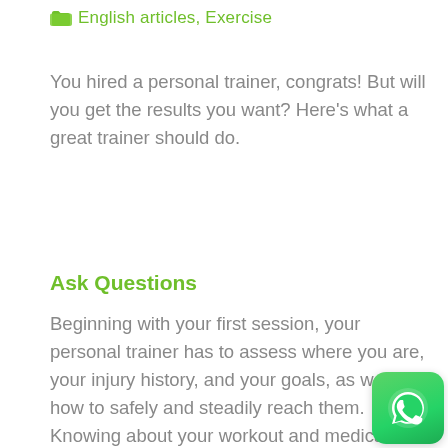English articles, Exercise
You hired a personal trainer, congrats! But will you get the results you want? Here's what a great trainer should do.
Ask Questions
Beginning with your first session, your personal trainer has to assess where you are, your injury history, and your goals, as well as how to safely and steadily reach them. Knowing about your workout and medical history, eating habits, sleep rhythm, and stress levels is necessary to create a program that works.
[Figure (logo): WhatsApp logo icon, green rounded square with white phone handset]